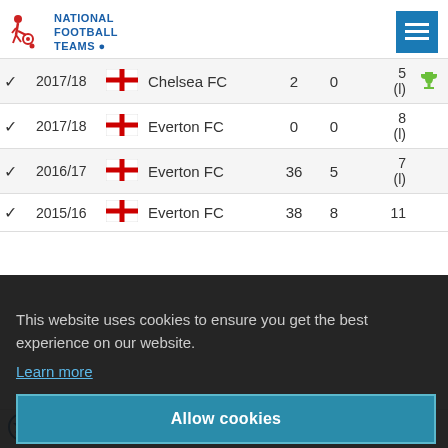[Figure (logo): National Football Teams website logo with running player icon and site name]
|  | Season | Flag | Club | Apps | Goals | Rank | Trophy |
| --- | --- | --- | --- | --- | --- | --- | --- |
| ✓ | 2017/18 | England | Chelsea FC | 2 | 0 | 5
(l) | 🏆 |
| ✓ | 2017/18 | England | Everton FC | 0 | 0 | 8
(l) |  |
| ✓ | 2016/17 | England | Everton FC | 36 | 5 | 7
(l) |  |
| ✓ | 2015/16 | England | Everton FC | 38 | 8 | 11 |  |
This website uses cookies to ensure you get the best experience on our website. Learn more
Allow cookies
Matches of Ross Barkley